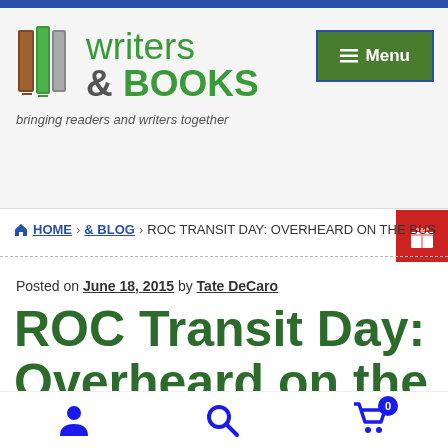[Figure (logo): Writers & Books logo with book icon and tagline 'bringing readers and writers together']
[Figure (other): Green Menu button with hamburger icon]
[Figure (other): Red gift icon button on right side]
HOME › & BLOG › ROC TRANSIT DAY: OVERHEARD ON THE BUS
Posted on June 18, 2015 by Tate DeCaro
ROC Transit Day: Overheard on the Bus
[Figure (other): Bottom toolbar with person icon, search icon, and shopping cart icon with badge showing 0]